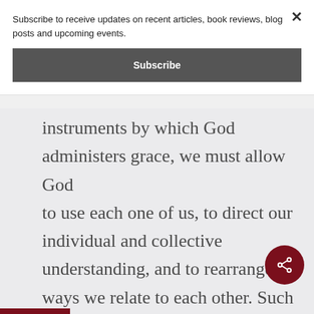Subscribe to receive updates on recent articles, book reviews, blog posts and upcoming events.
Subscribe
instruments by which God administers grace, we must allow God to use each one of us, to direct our individual and collective understanding, and to rearrange the ways we relate to each other. Such rearrangements may even be understood as part of our vocations– that is, God may call us to transform